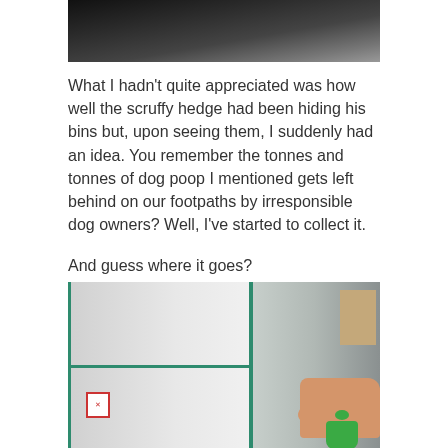[Figure (photo): Top portion of an outdoor photo, dark ground/pavement visible at top of page]
What I hadn't quite appreciated was how well the scruffy hedge had been hiding his bins but, upon seeing them, I suddenly had an idea. You remember the tonnes and tonnes of dog poop I mentioned gets left behind on our footpaths by irresponsible dog owners? Well, I've started to collect it.
And guess where it goes?
[Figure (photo): Indoor photo showing white curtains, teal/green window frame, and a hand holding a tied green dog poop bag]